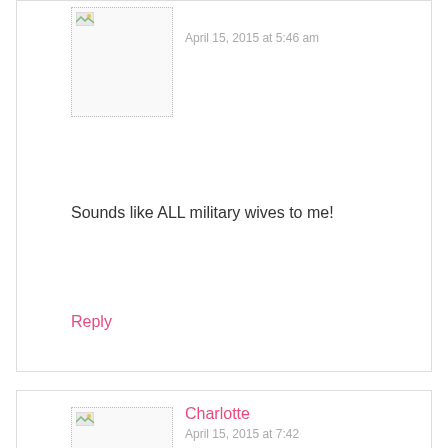[Figure (photo): Avatar placeholder image with broken image icon, dotted border]
April 15, 2015 at 5:46 am
Sounds like ALL military wives to me!
Reply
[Figure (photo): Avatar placeholder image with broken image icon, dotted border]
Charlotte
April 15, 2015 at 7:42